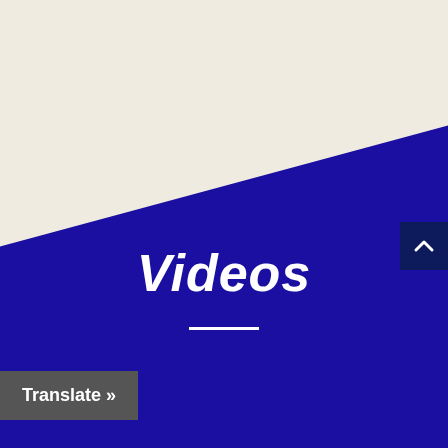[Figure (screenshot): Website section with cream background transitioning to dark blue diagonal background]
Videos
Translate »